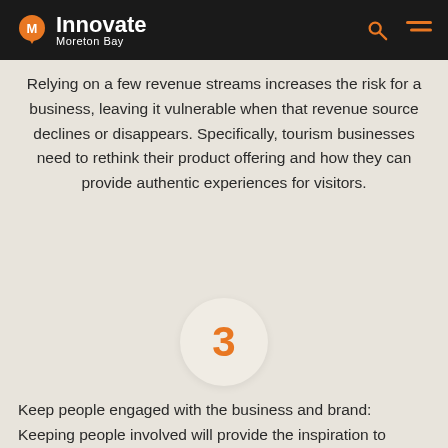Innovate Moreton Bay
Relying on a few revenue streams increases the risk for a business, leaving it vulnerable when that revenue source declines or disappears. Specifically, tourism businesses need to rethink their product offering and how they can provide authentic experiences for visitors.
[Figure (infographic): Circle with number 3 in orange, indicating a numbered list item]
Keep people engaged with the business and brand: Keeping people involved will provide the inspiration to innovate and help reboot when the crisis is over.